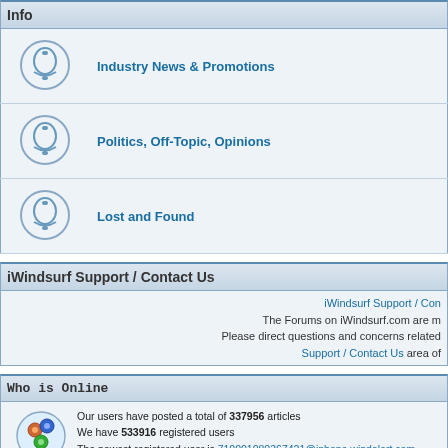Info
Industry News & Promotions
Politics, Off-Topic, Opinions
Lost and Found
iWindsurf Support / Contact Us
iWindsurf Support / Con The Forums on iWindsurf.com are m Please direct questions and concerns related Support / Contact Us area of
Who is Online
Our users have posted a total of 337956 articles We have 533916 registered users The newest registered user is 710001080367421@iphone.windalert.com In total there are 23 users online :: 22 Registered, 1 Hidden and 0 Guests [ Administrator Most users ever online was 1358 on Sun Apr 01, 2007 1:44 pm Registered Users: AHinSD, billplautz, chand2, goof, jamielo, jpeter, kenmeehan1, lruhstorf riowind, rsupple, skyking1231, spennie, STROCH, traig, windsurf4fun, yoko71
This data is based on users active over the past five minutes